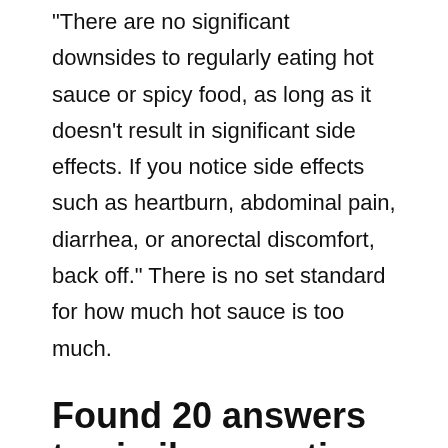“There are no significant downsides to regularly eating hot sauce or spicy food, as long as it doesn’t result in significant side effects. If you notice side effects such as heartburn, abdominal pain, diarrhea, or anorectal discomfort, back off.” There is no set standard for how much hot sauce is too much.
Found 20 answers to similar questions
Can you overdose hot sauce?
Vinek conducted a study published in the journal Narcotic and Chemical Toxicology that examined